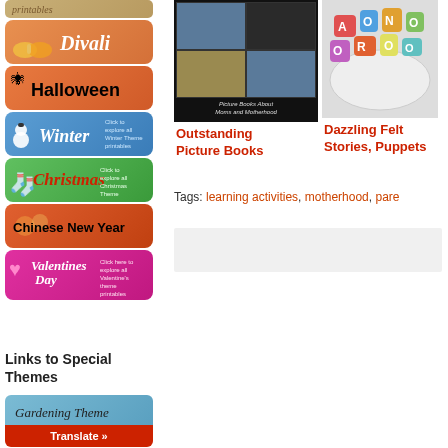[Figure (illustration): Partial tan/tree themed banner button at top of left sidebar]
[Figure (illustration): Diwali themed button - orange gradient with cursive text 'Divali']
[Figure (illustration): Halloween themed button - orange with spider and bold Halloween text]
[Figure (illustration): Winter themed button - blue with snowman and cursive Winter text]
[Figure (illustration): Christmas themed button - green with stocking and cursive Christmas text]
[Figure (illustration): Chinese New Year themed button - red/orange with bold black text]
[Figure (illustration): Valentine's Day themed button - pink/red with heart and cursive text]
Links to Special Themes
[Figure (illustration): Gardening theme button partially visible with Translate bar]
[Figure (photo): Collage of picture books about Moms and Motherhood - StorytimeStandouts.com]
Outstanding Picture Books
[Figure (photo): Dazzling felt letters/puppets in a bowl - colorful foam letters]
Dazzling Felt Stories, Puppets
Tags: learning activities, motherhood, pare...